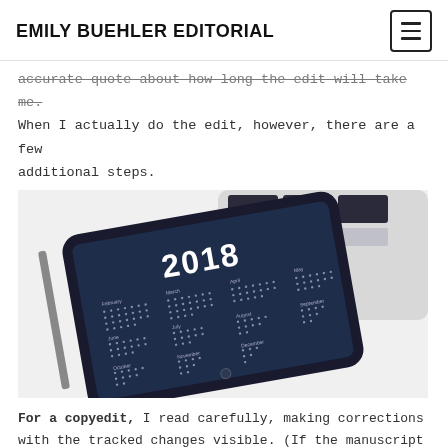EMILY BUEHLER EDITORIAL
accurate quote about how long the edit will take me. When I actually do the edit, however, there are a few additional steps.
[Figure (photo): A tablet displaying a 2018 calendar app, resting on a laptop keyboard, against a white background.]
For a copyedit, I read carefully, making corrections with the tracked changes visible. (If the manuscript is